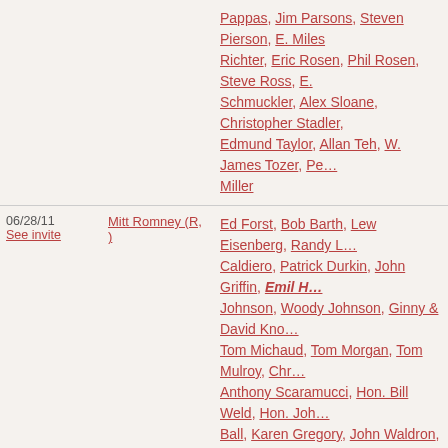| Date | Candidate | Attendees |
| --- | --- | --- |
|  |  | Pappas, Jim Parsons, Steven Pierson, E. Miles Richter, Eric Rosen, Phil Rosen, Steve Ross, E. Schmuckler, Alex Sloane, Christopher Stadler, Edmund Taylor, Allan Teh, W. James Tozer, Pe… Miller |
| 06/28/11 See invite | Mitt Romney (R, ) | Ed Forst, Bob Barth, Lew Eisenberg, Randy L. Caldiero, Patrick Durkin, John Griffin, Emil H. Johnson, Woody Johnson, Ginny & David Kno… Tom Michaud, Tom Morgan, Tom Mulroy, Chr… Anthony Scaramucci, Hon. Bill Weld, Hon. Joh… Ball, Karen Gregory, John Waldron, Ed Campa… Jay, Mark Junewicz, Peter Leidel, George Matt… Sol Barer, Barry Bausano, Stephen Boeschenst… Howard Cox, Anthony Dechellis, Michael Fisc… Gay, Phil Geier, Maurice Greenberg, Jeff Habil… Kern, Rodger Krouse, Marc Leder, Herb Londo… Wes Oakford, Erik Oken, Patrick O'Leary, Gle… |